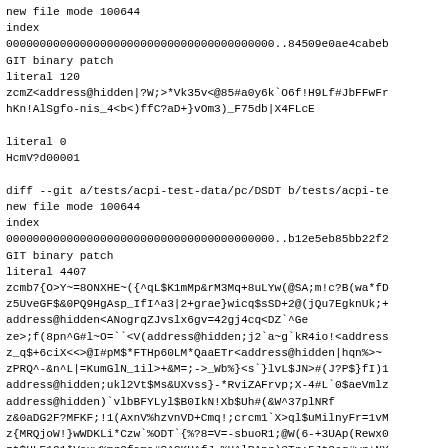new file mode 100644
index
0000000000000000000000000000000000000000..84509e0ae4cabeb
GIT binary patch
literal 120
zcmZ<address@hidden|?W;>*Vk35v<@85#a0y6k`O6f!H9Lf#JbFFwFr
hKn!AlSgfo-nis_4<b<)ffC?aD+}vOm3)_F75db|X4FLcE

literal 0
HcmV?d00001

diff --git a/tests/acpi-test-data/pc/DSDT b/tests/acpi-te
new file mode 100644
index
0000000000000000000000000000000000000000..b12e5eb85bb22f2
GIT binary patch
literal 4407
zcmb7{O>Y~=8ONXHE~({^qL$K1mMp&rM3Mq+8uLYw(@SA;m!c?B(wa*fD
z5UveGF$&0PQ9HgAsp_IfI^a3|2+grae}wicq$sSD+2@(jQu7EgknUk;+
address@hidden<ANogrqZJvslx6gv=42gj4cq<DZ`^Ge
ze>;f(8pn^G#l~O=``<V(address@hidden;j2`a~g`kR4io!<address
z_q$+6ciX<<>@I#pM$*FTHp60LM*QaaETr<address@hidden|hqn%>~
zPRQ^-&n^L|=KumGlN_1il>+&M=;->_Wb%)<s`}lvL$JN>#(J?P$}fI)1
address@hidden;ukl2Vt$Ms&UXvss}-*RviZAFrvp;X-4#L`0$aeVmlz
address@hidden)`vlbBFYLyl$B0IkN!Xb$Uh#(&W^37plNRf
z&0aDG2F?MFKF;!1(AxnV%hzvnVD+Cmq!;crcm1`X>ql$uMilnyFr=1vM
z{MRQjoW!}wWDKLi*Czw`%ODT`{%?8=V=-sbuoR1;@W(6-+3UAp(Rewx0
zt$HLE191*Voxw%mr9fama#S^CKU^fJ_%H^lRApr)3Tr;5Jt2eq#wr+NY
zUkN^~)KqvA#~8y`Y7~CrY^F7{w$%>LyCLn?%U(*v)Q=B-{SieWPk^l(R
zrdOwm-{?vbH+{T?oz)v=vX&`k|M=(Ko`~=l;pcG4)37Xv#g;address